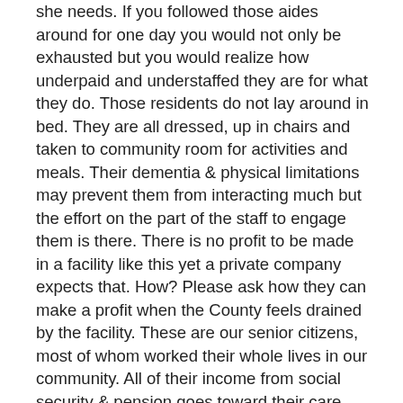she needs. If you followed those aides around for one day you would not only be exhausted but you would realize how underpaid and understaffed they are for what they do. Those residents do not lay around in bed. They are all dressed, up in chairs and taken to community room for activities and meals. Their dementia & physical limitations may prevent them from interacting much but the effort on the part of the staff to engage them is there. There is no profit to be made in a facility like this yet a private company expects that. How? Please ask how they can make a profit when the County feels drained by the facility. These are our senior citizens, most of whom worked their whole lives in our community. All of their income from social security & pension goes toward their care and yes Medicaid still has to kick in in many cases to cover the cost. We, the tax payers of Chemung County, are supporting many individuals who have